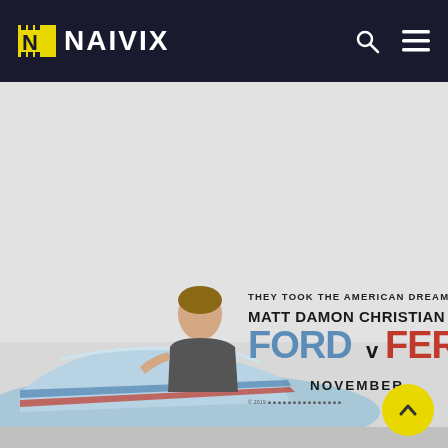NAIVIX
[Figure (photo): Ford v Ferrari movie poster showing a man leaning against a race car, with text: THEY TOOK THE AMERICAN DREAM FOR A RIDE / MATT DAMON  CHRISTIAN BALE / FORD v FERRARI / NOVEMBER]